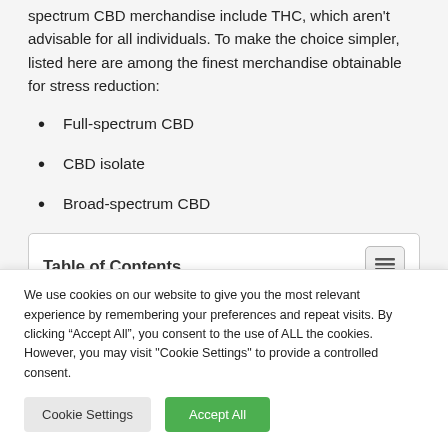spectrum CBD merchandise include THC, which aren't advisable for all individuals. To make the choice simpler, listed here are among the finest merchandise obtainable for stress reduction:
Full-spectrum CBD
CBD isolate
Broad-spectrum CBD
Table of Contents
We use cookies on our website to give you the most relevant experience by remembering your preferences and repeat visits. By clicking “Accept All”, you consent to the use of ALL the cookies. However, you may visit "Cookie Settings" to provide a controlled consent.